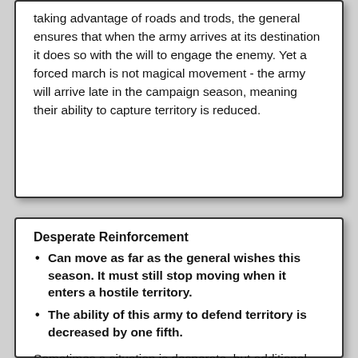taking advantage of roads and trods, the general ensures that when the army arrives at its destination it does so with the will to engage the enemy. Yet a forced march is not magical movement - the army will arrive late in the campaign season, meaning their ability to capture territory is reduced.
Desperate Reinforcement
Can move as far as the general wishes this season. It must still stop moving when it enters a hostile territory.
The ability of this army to defend territory is decreased by one fifth.
Sometimes a situation is desperate, but additional troops may turn the tide of battle. In such cases, the general pushes their troops to